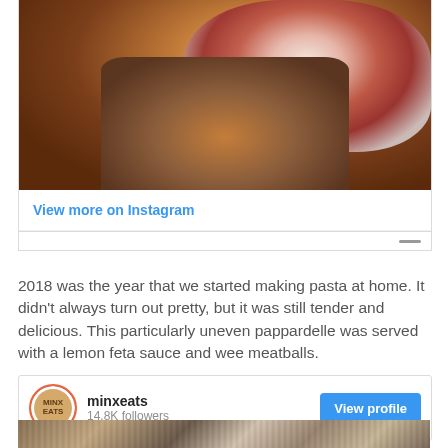[Figure (photo): Close-up photo of a lobster roll sandwich on an orange plate with floral pattern, filled with lobster salad with white creamy sauce and red/pink lobster pieces]
View more on Instagram
2018 was the year that we started making pasta at home. It didn't always turn out pretty, but it was still tender and delicious. This particularly uneven pappardelle was served with a lemon feta sauce and wee meatballs.
[Figure (screenshot): Instagram profile card showing minxeats account with 14.8K followers and a View profile button]
[Figure (photo): Partial photo visible at bottom showing food/pasta on a dark surface]